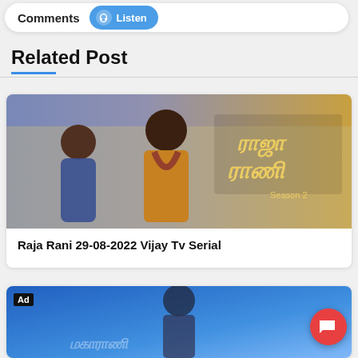Comments  Listen
Related Post
[Figure (photo): Raja Rani Season 2 TV serial poster showing a man in yellow kurta and woman in blue salwar kameez with Tamil text logo]
Raja Rani 29-08-2022 Vijay Tv Serial
[Figure (photo): Partially visible second related post card with blue background and Ad badge, Tamil text at bottom, and orange chat button overlay]